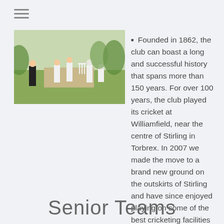[Figure (photo): Cricket match in progress on a green field with players in white uniforms and an umpire in black standing near the wickets.]
Founded in 1862, the club can boast a long and successful history that spans more than 150 years. For over 100 years, the club played its cricket at Williamfield, near the centre of Stirling in Torbrex. In 2007 we made the move to a brand new ground on the outskirts of Stirling and have since enjoyed playing on some of the best cricketing facilities in Scotland.
If you live in the area and like what the club has to offer, why not come down to the ground or e-mail us at ContactUs@StirlingCountyCC.co.uk
Senior Teams